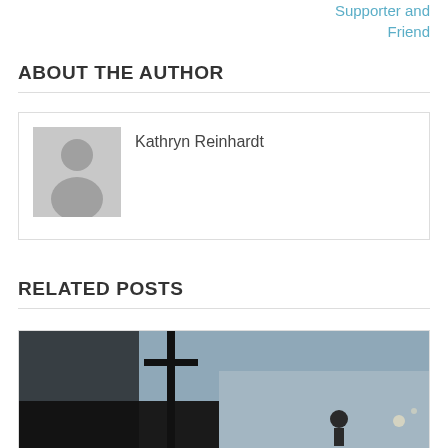Supporter and Friend
ABOUT THE AUTHOR
[Figure (photo): Default avatar placeholder showing a grey silhouette of a person with name Kathryn Reinhardt]
Kathryn Reinhardt
RELATED POSTS
[Figure (photo): Dark silhouette photograph of a person near a tall structure with light in background]